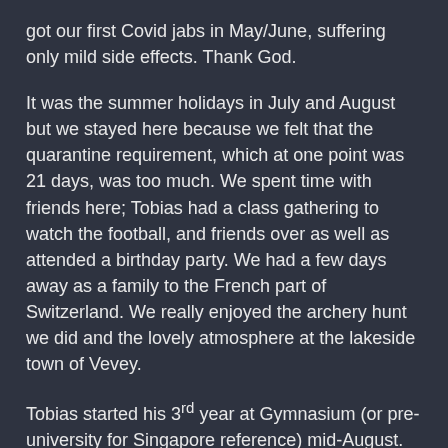got our first Covid jabs in May/June, suffering only mild side effects. Thank God.
It was the summer holidays in July and August but we stayed here because we felt that the quarantine requirement, which at one point was 21 days, was too much. We spent time with friends here; Tobias had a class gathering to watch the football, and friends over as well as attended a birthday party. We had a few days away as a family to the French part of Switzerland. We really enjoyed the archery hunt we did and the lovely atmosphere at the lakeside town of Vevey.
Tobias started his 3rd year at Gymnasium (or pre-university for Singapore reference) mid-August. Sandra continues her role as missions coordinator at church, now with help from a lovely mission-hearted and experienced lady.